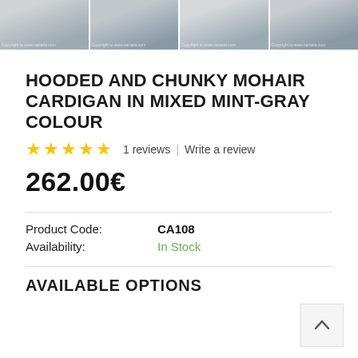[Figure (photo): Four product thumbnail images of a hooded chunky mohair cardigan in mint-gray color, shown from slightly different angles, with watermarks.]
HOODED AND CHUNKY MOHAIR CARDIGAN IN MIXED MINT-GRAY COLOUR
1 reviews  |  Write a review
262.00€
Product Code:   CA108
Availability:   In Stock
AVAILABLE OPTIONS